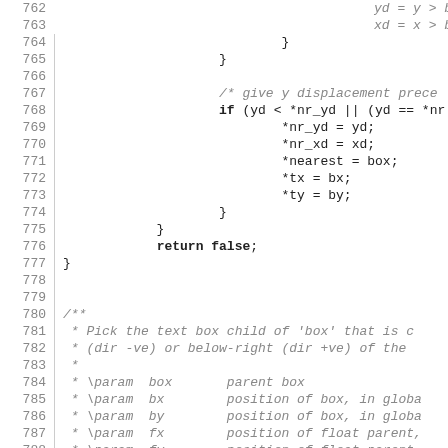Source code listing, lines 762-792, showing C code with function body and documentation comment block.